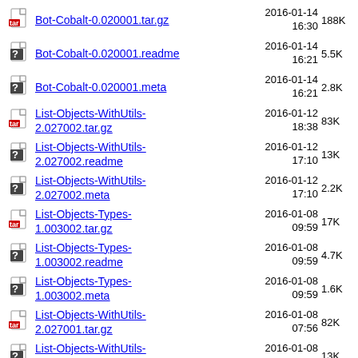Bot-Cobalt-0.020001.tar.gz  2016-01-14 16:30  188K
Bot-Cobalt-0.020001.readme  2016-01-14 16:21  5.5K
Bot-Cobalt-0.020001.meta  2016-01-14 16:21  2.8K
List-Objects-WithUtils-2.027002.tar.gz  2016-01-12 18:38  83K
List-Objects-WithUtils-2.027002.readme  2016-01-12 17:10  13K
List-Objects-WithUtils-2.027002.meta  2016-01-12 17:10  2.2K
List-Objects-Types-1.003002.tar.gz  2016-01-08 09:59  17K
List-Objects-Types-1.003002.readme  2016-01-08 09:59  4.7K
List-Objects-Types-1.003002.meta  2016-01-08 09:59  1.6K
List-Objects-WithUtils-2.027001.tar.gz  2016-01-08 07:56  82K
List-Objects-WithUtils-2.027001.readme  2016-01-08 07:54  13K